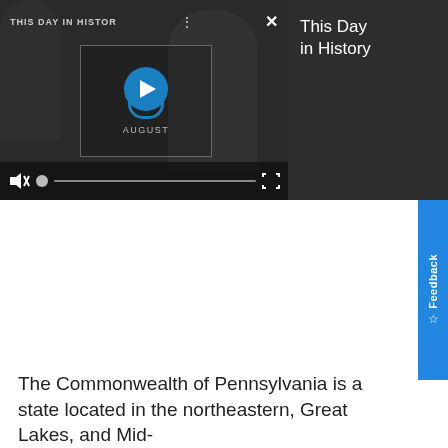[Figure (screenshot): A video player showing 'This Day in History' with a play button overlay, AUGUST label, mute icon, progress bar, and fullscreen button. Dark background with silhouetted figures.]
This Day in History
The Commonwealth of Pennsylvania is a state located in the northeastern, Great Lakes, and Mid-